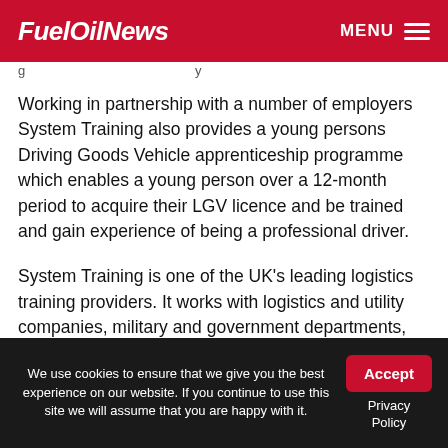Fuel Oil News — MENU
Working in partnership with a number of employers System Training also provides a young persons Driving Goods Vehicle apprenticeship programme which enables a young person over a 12-month period to acquire their LGV licence and be trained and gain experience of being a professional driver.
System Training is one of the UK's leading logistics training providers. It works with logistics and utility companies, military and government departments, local authorities, national corporations and small businesses as well as the self-employed.
We use cookies to ensure that we give you the best experience on our website. If you continue to use this site we will assume that you are happy with it. Accept Privacy Policy